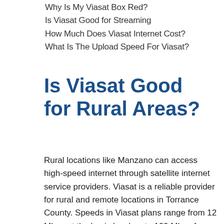Why Is My Viasat Box Red?
Is Viasat Good for Streaming
How Much Does Viasat Internet Cost?
What Is The Upload Speed For Viasat?
Is Viasat Good for Rural Areas?
Rural locations like Manzano can access high-speed internet through satellite internet service providers. Viasat is a reliable provider for rural and remote locations in Torrance County. Speeds in Viasat plans range from 12 Mbps at the basic level up to 100 Mbps for home satellite internet. All plans have a data cap. You won't lose service when you hit your cap but service could be slower. For most everyday tasks like checking email, reading news, shopping, or visiting social media you probably will not notice latency but do